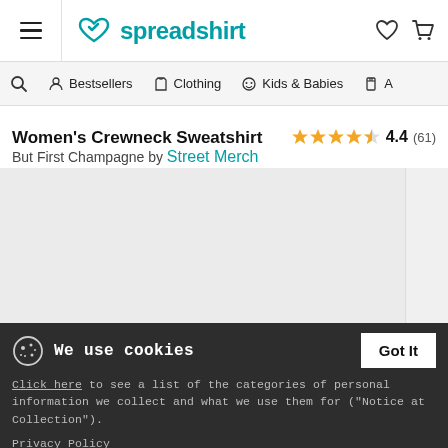spreadshirt — navigation header with hamburger menu, logo, heart icon, cart icon
Search | Bestsellers | Clothing | Kids & Babies | A...
Women's Crewneck Sweatshirt
But First Champagne by Street Merch — Rating: 4.4 (61)
[Figure (photo): Product image area showing a light grey background where a sweatshirt photo would appear, with a narrow sidebar panel on the right]
We use cookies — Got It button. Click here to see a list of the categories of personal information we collect and what we use them for ("Notice at Collection"). Privacy Policy. Do Not Sell My Personal Information. By using this website, I agree to the Terms and Conditions